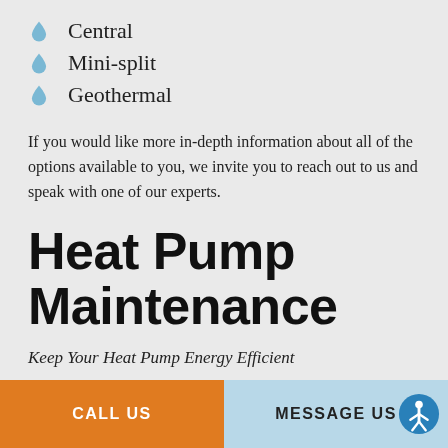Central
Mini-split
Geothermal
If you would like more in-depth information about all of the options available to you, we invite you to reach out to us and speak with one of our experts.
Heat Pump Maintenance
Keep Your Heat Pump Energy Efficient
CALL US | MESSAGE US